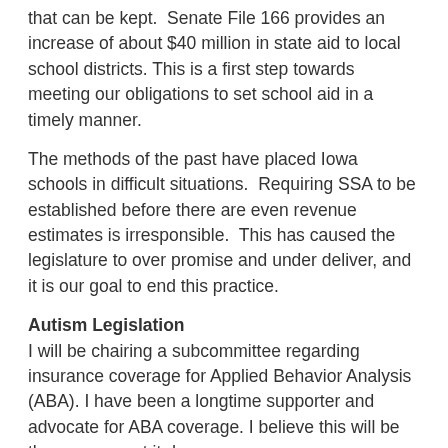that can be kept.  Senate File 166 provides an increase of about $40 million in state aid to local school districts. This is a first step towards meeting our obligations to set school aid in a timely manner.
The methods of the past have placed Iowa schools in difficult situations.  Requiring SSA to be established before there are even revenue estimates is irresponsible.  This has caused the legislature to over promise and under deliver, and it is our goal to end this practice.
Autism Legislation
I will be chairing a subcommittee regarding insurance coverage for Applied Behavior Analysis (ABA). I have been a longtime supporter and advocate for ABA coverage. I believe this will be the year we get it done.
Autism Speaks defines ABA as: focusing on the principles that explain how learning takes place. Positive reinforcement is one such principle. When a behavior is followed by some sort of reward, the behavior is more likely to be repeated. Through decades of research, the field of behavior analysis has developed many techniques for increasing useful behaviors and reducing